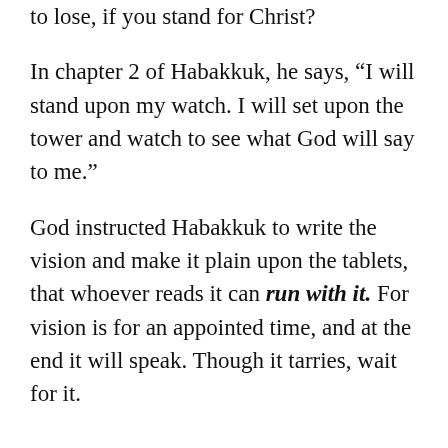to lose, if you stand for Christ?
In chapter 2 of Habakkuk, he says, “I will stand upon my watch. I will set upon the tower and watch to see what God will say to me.”
God instructed Habakkuk to write the vision and make it plain upon the tablets, that whoever reads it can run with it. For vision is for an appointed time, and at the end it will speak. Though it tarries, wait for it.